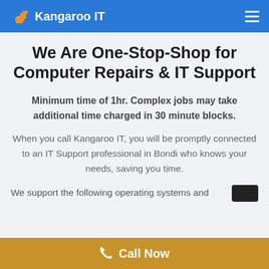Kangaroo IT
We Are One-Stop-Shop for Computer Repairs & IT Support
Minimum time of 1hr. Complex jobs may take additional time charged in 30 minute blocks.
When you call Kangaroo IT, you will be promptly connected to an IT Support professional in Bondi who knows your needs, saving you time.
We support the following operating systems and
Call Now